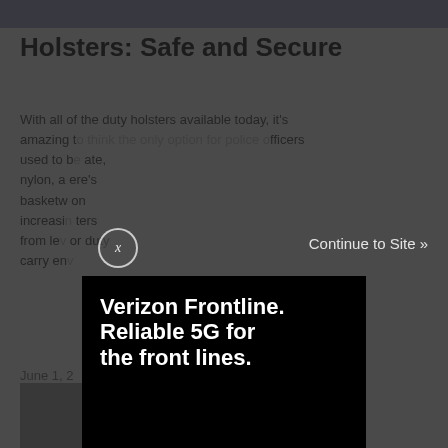[Figure (photo): Partial image at top of page showing a figure, dimmed under overlay]
Holsters: Safe and Secure
With all of the duty holsters available today, it's amazing to think the only option for police officers used to be... ...ate, nylon, a... ...ere's basketw... ...on increasingly... ...ters from le... ...or duty carry en...
June 1, 2...
[Figure (advertisement): Verizon Frontline ad on black background. Headline: Verizon Frontline. Reliable 5G for the front lines. Verizon logo with red checkmark, Learn more button, disclaimer text about 5G Priority and Preemption services.]
[Figure (photo): Two thumbnail images at bottom of page, partially visible]
x (close button) Continue to Site »